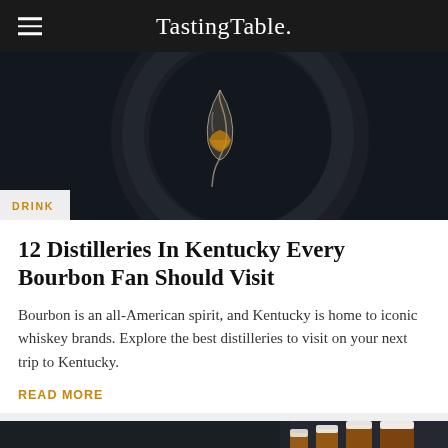Tasting Table.
[Figure (photo): Dark atmospheric photo of a glencairn whiskey glass with golden bourbon, set against a dark barrel, with a circular barrel opening visible]
DRINK
12 Distilleries In Kentucky Every Bourbon Fan Should Visit
Bourbon is an all-American spirit, and Kentucky is home to iconic whiskey brands. Explore the best distilleries to visit on your next trip to Kentucky.
READ MORE
[Figure (photo): Dark photo showing a row of beer glasses of varying sizes filled with amber beer with white foam heads]